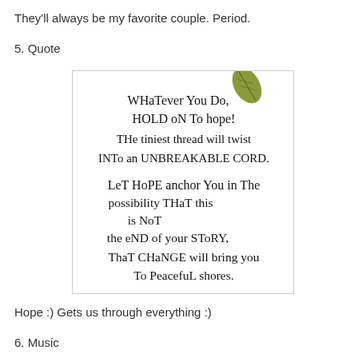They'll always be my favorite couple. Period.
5. Quote
[Figure (illustration): Handwritten inspirational quote on white background with a small leaf illustration. Text reads: 'WHaTever You Do, HOLD oN To hope! THe tiniest thread will twist INTo an UNBREAKABLE CORD. LeT HoPE anchor You in The possibility THaT this is NOT the eND of your SToRY, ThaT CHaNGE will bring you To PeacefuL shores.']
Hope :) Gets us through everything :)
6. Music